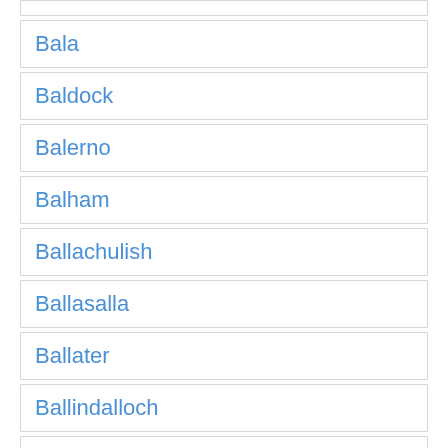Bala
Baldock
Balerno
Balham
Ballachulish
Ballasalla
Ballater
Ballindalloch
Ballycastle
Ballyclare